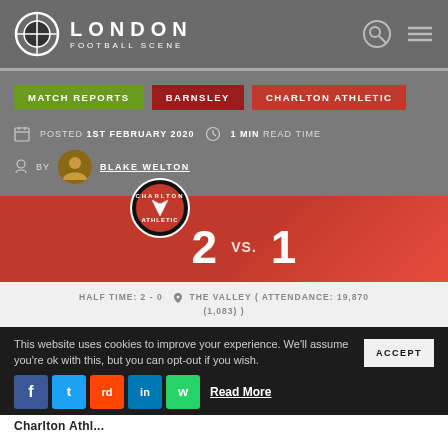LONDON FOOTBALL SCENE
MATCH REPORTS
BARNSLEY
CHARLTON ATHLETIC
POSTED 1ST FEBRUARY 2020   1 MIN READ TIME
BY BLAKE WELTON
[Figure (infographic): Match score graphic: Charlton Athletic badge, 2 vs. 1]
HALF TIME: 2 - 0   THE VALLEY ( ATTENDANCE: 19,870 (1,083) )
This website uses cookies to improve your experience. We'll assume you're ok with this, but you can opt-out if you wish.
Read More